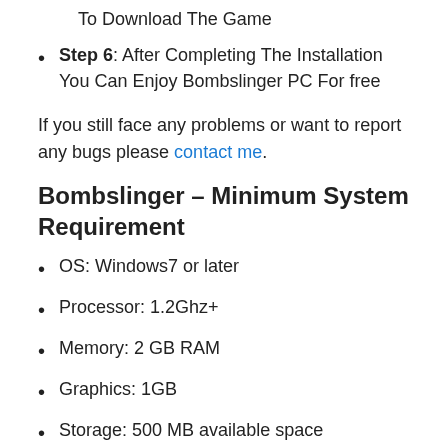To Download The Game
Step 6: After Completing The Installation You Can Enjoy Bombslinger PC For free
If you still face any problems or want to report any bugs please contact me.
Bombslinger – Minimum System Requirement
OS: Windows7 or later
Processor: 1.2Ghz+
Memory: 2 GB RAM
Graphics: 1GB
Storage: 500 MB available space
Bombslinger – Recommended System Requirement
CPU: Info